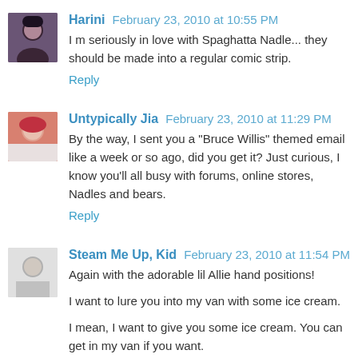Harini  February 23, 2010 at 10:55 PM
I m seriously in love with Spaghatta Nadle... they should be made into a regular comic strip.
Reply
Untypically Jia  February 23, 2010 at 11:29 PM
By the way, I sent you a "Bruce Willis" themed email like a week or so ago, did you get it? Just curious, I know you'll all busy with forums, online stores, Nadles and bears.
Reply
Steam Me Up, Kid  February 23, 2010 at 11:54 PM
Again with the adorable lil Allie hand positions!
I want to lure you into my van with some ice cream.
I mean, I want to give you some ice cream. You can get in my van if you want.